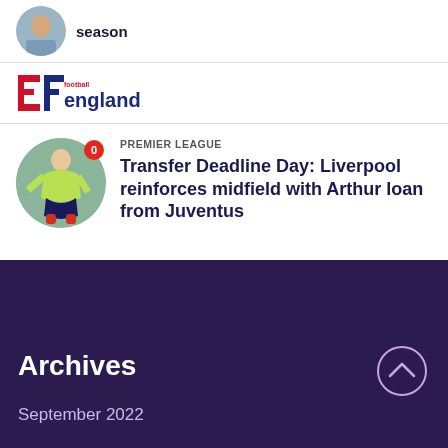season
[Figure (logo): Football England logo with stylized EF letters and red/blue colors]
PREMIER LEAGUE
Transfer Deadline Day: Liverpool reinforces midfield with Arthur loan from Juventus
Archives
September 2022